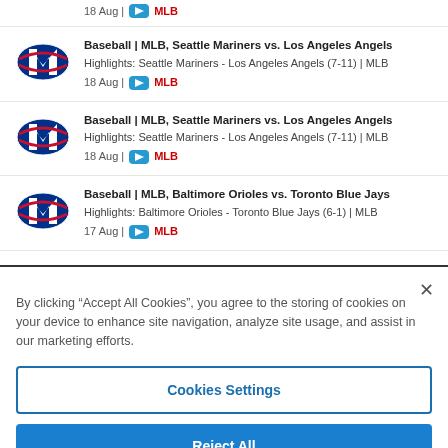18 Aug | MLB
Baseball | MLB, Seattle Mariners vs. Los Angeles Angels
Highlights: Seattle Mariners - Los Angeles Angels (7-11) | MLB
18 Aug | MLB
Baseball | MLB, Seattle Mariners vs. Los Angeles Angels
Highlights: Seattle Mariners - Los Angeles Angels (7-11) | MLB
18 Aug | MLB
Baseball | MLB, Baltimore Orioles vs. Toronto Blue Jays
Highlights: Baltimore Orioles - Toronto Blue Jays (6-1) | MLB
17 Aug | MLB
Baseball | MLB, Philadelphia Phillies vs. Cincinnati Reds
Highlights: Philadelphia Phillies - Cincinnati Reds (1-0) | MLB
17 Aug | MLB
By clicking “Accept All Cookies”, you agree to the storing of cookies on your device to enhance site navigation, analyze site usage, and assist in our marketing efforts.
Cookies Settings
Reject All